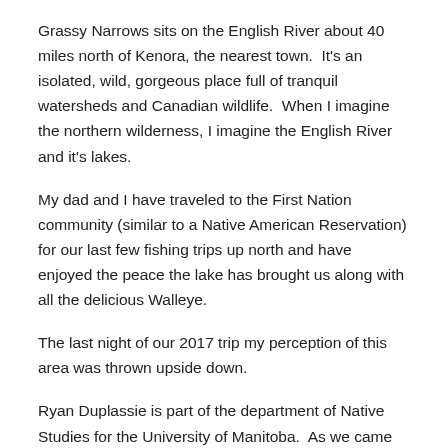Grassy Narrows sits on the English River about 40 miles north of Kenora, the nearest town.  It's an isolated, wild, gorgeous place full of tranquil watersheds and Canadian wildlife.  When I imagine the northern wilderness, I imagine the English River and it's lakes.
My dad and I have traveled to the First Nation community (similar to a Native American Reservation) for our last few fishing trips up north and have enjoyed the peace the lake has brought us along with all the delicious Walleye.
The last night of our 2017 trip my perception of this area was thrown upside down.
Ryan Duplassie is part of the department of Native Studies for the University of Manitoba.  As we came